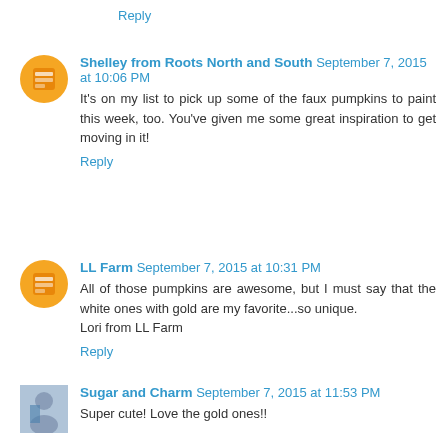Reply
Shelley from Roots North and South September 7, 2015 at 10:06 PM
It's on my list to pick up some of the faux pumpkins to paint this week, too. You've given me some great inspiration to get moving in it!
Reply
LL Farm September 7, 2015 at 10:31 PM
All of those pumpkins are awesome, but I must say that the white ones with gold are my favorite...so unique.
Lori from LL Farm
Reply
Sugar and Charm September 7, 2015 at 11:53 PM
Super cute! Love the gold ones!!